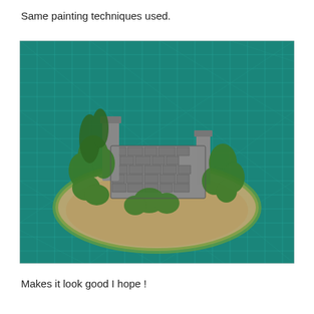Same painting techniques used.
[Figure (photo): A painted miniature terrain piece — ruined stone wall with green foliage plants, mounted on an oval base with grass and gravel, placed on a green gridded cutting mat.]
Makes it look good I hope !